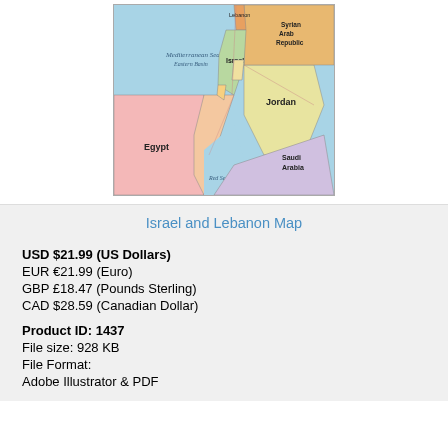[Figure (map): Map showing Israel, Lebanon, Egypt, Jordan, Saudi Arabia, Syrian Arab Republic, Mediterranean Sea Eastern Basin, and Red Sea regions with political boundaries and color-coded territories.]
Israel and Lebanon Map
USD $21.99 (US Dollars)
EUR €21.99 (Euro)
GBP £18.47 (Pounds Sterling)
CAD $28.59 (Canadian Dollar)
Product ID: 1437
File size: 928 KB
File Format:
Adobe Illustrator & PDF